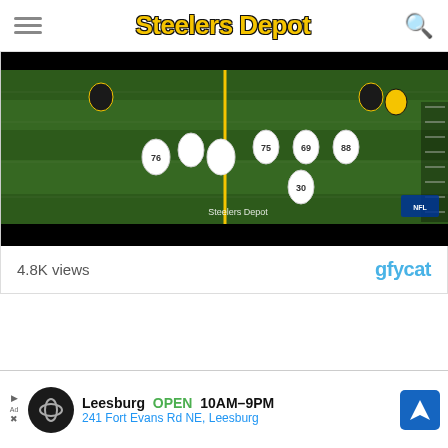Steelers Depot
[Figure (screenshot): Football game video screenshot showing players on a green field. Players in white uniforms with numbers 76, 75, 69, 88, 30 visible. A yellow vertical line is visible on the field. Watermark reads 'Steelers Depot'. NFL logo visible in bottom right.]
4.8K views
[Figure (logo): gfycat logo in blue text]
[Figure (infographic): Advertisement banner: Leesburg OPEN 10AM-9PM, 241 Fort Evans Rd NE, Leesburg. Shows circular logo with infinity symbol and blue navigation arrow icon.]